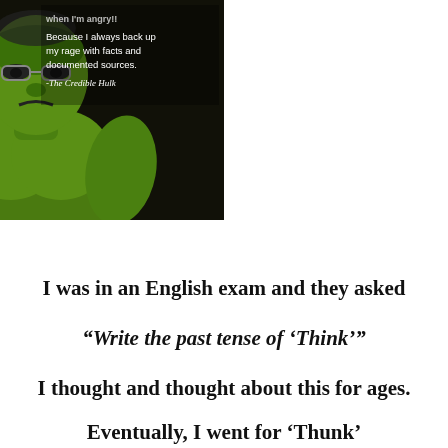[Figure (photo): A dark-background meme image of the Hulk (large green muscular figure) with white text reading 'Because I always back up my rage with facts and documented sources. -The Credible Hulk']
I was in an English exam and they asked
“Write the past tense of ‘Think’”
I thought and thought about this for ages.
Eventually, I went for ‘Thunk’